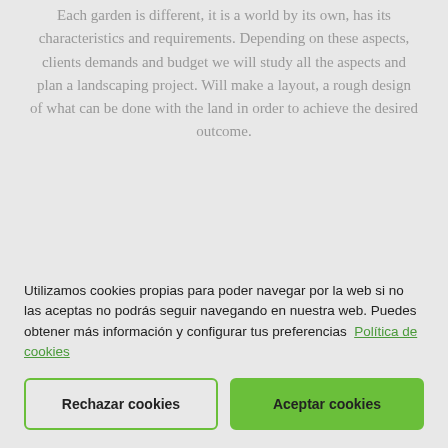Each garden is different, it is a world by its own, has its characteristics and requirements. Depending on these aspects, clients demands and budget we will study all the aspects and plan a landscaping project. Will make a layout, a rough design of what can be done with the land in order to achieve the desired outcome.
Utilizamos cookies propias para poder navegar por la web si no las aceptas no podrás seguir navegando en nuestra web. Puedes obtener más información y configurar tus preferencias Política de cookies